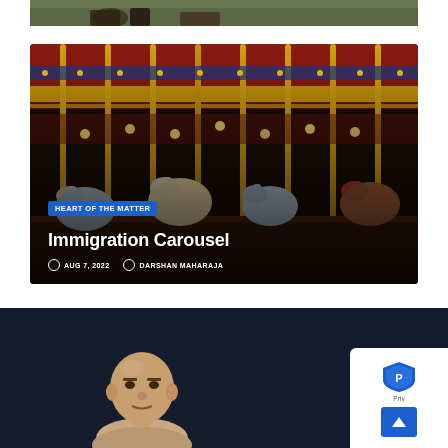[Figure (photo): Partial top image showing dark grass/floor surface, cropped at top of visible area]
[Figure (photo): Colorful carousel/merry-go-round interior with ornate gold and red decorations, horses, lights, and poles]
HEART OF THE MATTER
Immigration Carousel
AUG 7, 2022   DARSHAN MAHARAJA
[Figure (photo): Headshot of a bald middle-aged man against dark navy background]
[Figure (other): Privacy/scroll-to-top button widget with blue upward arrow and partial privacy badge logo]